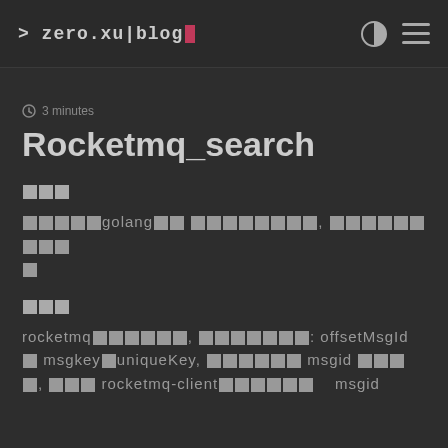> zero.xu|blog
3 minutes
Rocketmq_search
背景 (CJK blocks)
最初使用golang写了 消息查询工具, 使用的是桌面应用
功能 (CJK blocks)
rocketmq消息查询, 支持查询: offsetMsgId 和 msgkey与uniqueKey, 消费轨迹查询 msgid 和 key, 还有 rocketmq-client中的 msgid